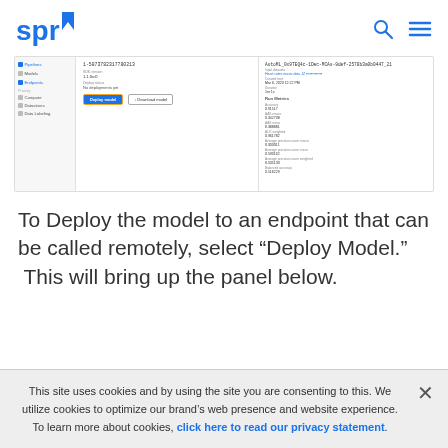SPR logo with search and menu icons
[Figure (screenshot): Screenshot of an ML model deployment interface showing a sidebar with Pipeline, Models, Endpoints, Compute, Datastores, Data Labeling items. Main panel shows model ID, SDK version 1.1.0rc0, Deploy status: No deployments yet, with Deploy model and Download model buttons. Right panel shows model ID, input datasets, created time Mar 6, 2020 12:22 PM, duration 1m 1s, Run Metrics including Accuracy 0.91517, AAS macro 0.342708, AAS micro 0.388881, AUC weighted 0.961782, Average precision score macro 0.303311, Average precision score micro 0.590162, Average precision score weighted 0.505133, Balanced accuracy 0.516229]
To Deploy the model to an endpoint that can be called remotely, select “Deploy Model.”  This will bring up the panel below.
This site uses cookies and by using the site you are consenting to this. We utilize cookies to optimize our brand’s web presence and website experience. To learn more about cookies, click here to read our privacy statement.